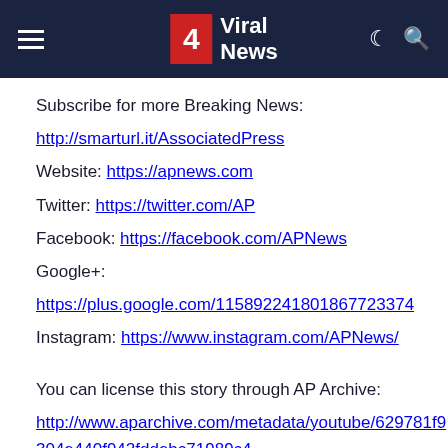4 Viral News
Subscribe for more Breaking News:
http://smarturl.it/AssociatedPress
Website: https://apnews.com
Twitter: https://twitter.com/AP
Facebook: https://facebook.com/APNews
Google+:
https://plus.google.com/115892241801867723374
Instagram: https://www.instagram.com/APNews/
You can license this story through AP Archive:
http://www.aparchive.com/metadata/youtube/629781f9304e440f942fddebc71989c4
source